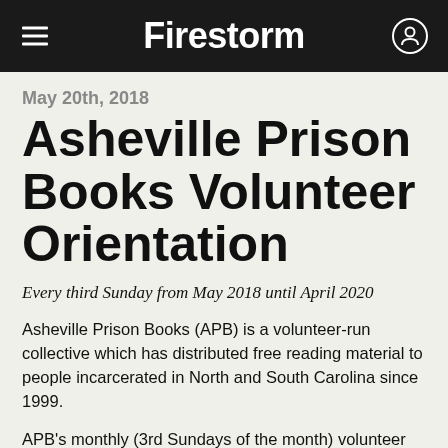Firestorm
May 20th, 2018
Asheville Prison Books Volunteer Orientation
Every third Sunday from May 2018 until April 2020
Asheville Prison Books (APB) is a volunteer-run collective which has distributed free reading material to people incarcerated in North and South Carolina since 1999.
APB's monthly (3rd Sundays of the month) volunteer